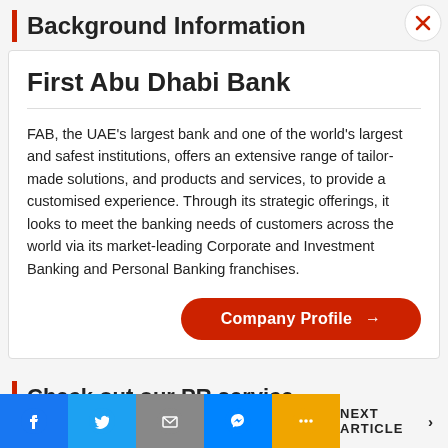Background Information
First Abu Dhabi Bank
FAB, the UAE's largest bank and one of the world's largest and safest institutions, offers an extensive range of tailor-made solutions, and products and services, to provide a customised experience. Through its strategic offerings, it looks to meet the banking needs of customers across the world via its market-leading Corporate and Investment Banking and Personal Banking franchises.
Check out our PR service
NEXT ARTICLE >